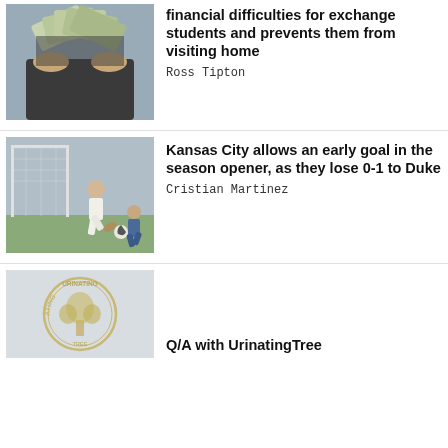[Figure (photo): Person holding up a fan of US $100 bills in front of their face]
financial difficulties for exchange students and prevents them from visiting home
Ross Tipton
[Figure (photo): Soccer player in white uniform dribbling ball with goalkeeper and another player in background]
Kansas City allows an early goal in the season opener, as they lose 0-1 to Duke
Cristian Martinez
[Figure (logo): Circular logo with text 'URINATING' around the edge and a tree illustration in the center]
Q/A with UrinatingTree